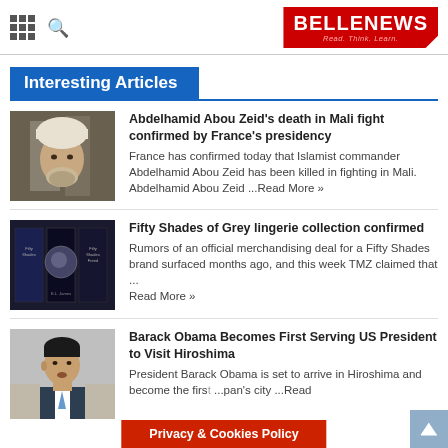BELLENEWS — Read. Think. Learn.
Interesting Articles
[Figure (photo): Photo of Abdelhamid Abou Zeid, a bearded man wearing a white turban]
Abdelhamid Abou Zeid's death in Mali fight confirmed by France's presidency
France has confirmed today that Islamist commander Abdelhamid Abou Zeid has been killed in fighting in Mali. Abdelhamid Abou Zeid ...Read More »
[Figure (photo): Photo of Fifty Shades of Grey book covers displayed in a row]
Fifty Shades of Grey lingerie collection confirmed
Rumors of an official merchandising deal for a Fifty Shades brand surfaced months ago, and this week TMZ claimed that ... Read More »
[Figure (photo): Photo of Barack Obama speaking]
Barack Obama Becomes First Serving US President to Visit Hiroshima
President Barack Obama is set to arrive in Hiroshima and become the first ...pan's city ...Read
Privacy & Cookies Policy